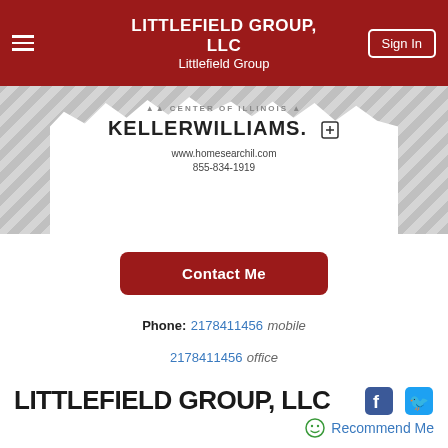LITTLEFIELD GROUP, LLC
Littlefield Group
[Figure (photo): Keller Williams real estate banner with white Illinois map shape on diagonal striped grey background, showing www.homesearchil.com and 855-834-1919]
Contact Me
Phone: 2178411456 mobile
2178411456 office
LITTLEFIELD GROUP, LLC
Recommend Me
The Littlefield Team comes together with extensive experience in real estate, sales and